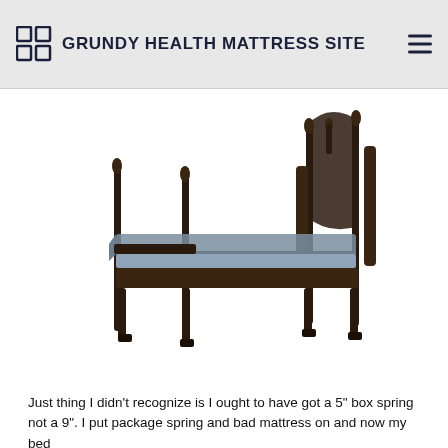GRUNDY HEALTH MATTRESS SITE
[Figure (photo): A dark wood antique four-poster bed with a grey mattress on it, photographed against a white background.]
Just thing I didn't recognize is I ought to have got a 5" box spring not a 9". I put package spring and bad mattress on and now my bed